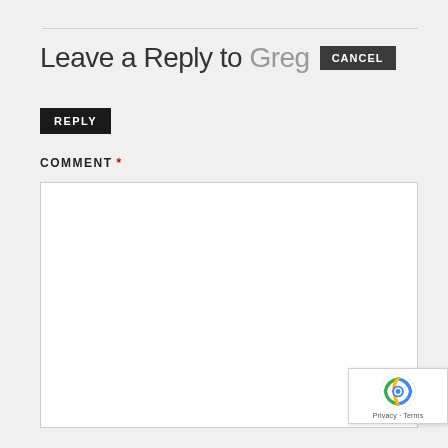Leave a Reply to Greg CANCEL
REPLY
COMMENT *
[Figure (other): Empty comment text area input box]
[Figure (other): reCAPTCHA badge with Privacy and Terms text]